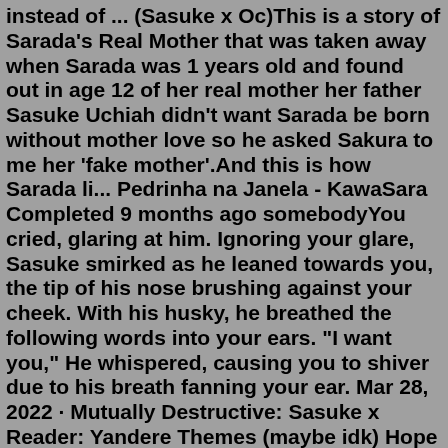instead of ... (Sasuke x Oc)This is a story of Sarada's Real Mother that was taken away when Sarada was 1 years old and found out in age 12 of her real mother her father Sasuke Uchiah didn't want Sarada be born without mother love so he asked Sakura to me her 'fake mother'.And this is how Sarada li... Pedrinha na Janela - KawaSara Completed 9 months ago somebodyYou cried, glaring at him. Ignoring your glare, Sasuke smirked as he leaned towards you, the tip of his nose brushing against your cheek. With his husky, he breathed the following words into your ears. "I want you," He whispered, causing you to shiver due to his breath fanning your ear. Mar 28, 2022 · Mutually Destructive: Sasuke x Reader: Yandere Themes (maybe idk) Hope you enjoy Anon! I still don't fully know if this fits Yandere but you're both desperate for each other. Word Count: 1.8k. Slight not sfw below the cut (sorry! i know you asked for nsfw I'm just not super good at it so it's kinda fade to black. Originally posted by ... It made Sasuke look pathetic as a father. Sakura...is Sakura. Having a